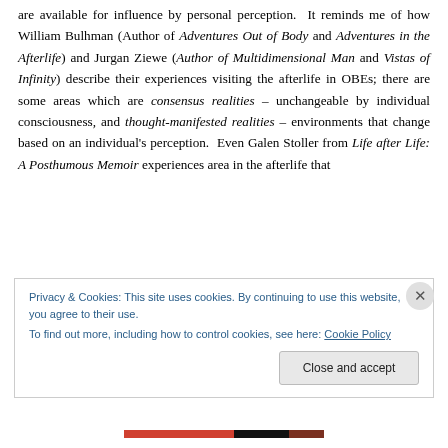are available for influence by personal perception.  It reminds me of how William Bulhman (Author of Adventures Out of Body and Adventures in the Afterlife) and Jurgan Ziewe (Author of Multidimensional Man and Vistas of Infinity) describe their experiences visiting the afterlife in OBEs; there are some areas which are consensus realities – unchangeable by individual consciousness, and thought-manifested realities – environments that change based on an individual's perception.  Even Galen Stoller from Life after Life: A Posthumous Memoir experiences area in the afterlife that
Privacy & Cookies: This site uses cookies. By continuing to use this website, you agree to their use.
To find out more, including how to control cookies, see here: Cookie Policy